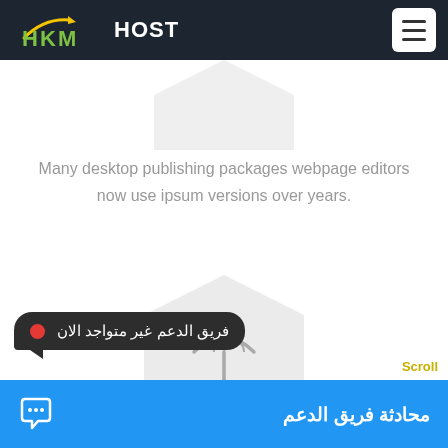HKM HOST
[Figure (illustration): Partial hexagon shape visible at top center below navbar]
Many desktop publishing packages webpage editors now use ipsum versions over years.
[Figure (illustration): Grey hexagon with umbrella icon in the center]
فريق الدعم غير متواجد الان
محادثة فريق الدعم